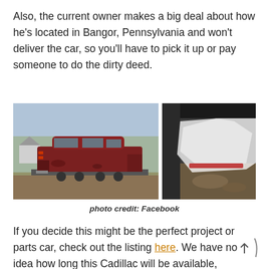Also, the current owner makes a big deal about how he's located in Bangor, Pennsylvania and won't deliver the car, so you'll have to pick it up or pay someone to do the dirty deed.
[Figure (photo): Two photos side by side: left shows a red/brown old hearse or station wagon on a trailer in an outdoor setting; right shows the interior cargo area of the vehicle with plastic sheeting and straps.]
photo credit: Facebook
If you decide this might be the perfect project or parts car, check out the listing here. We have no idea how long this Cadillac will be available, considering its condition.